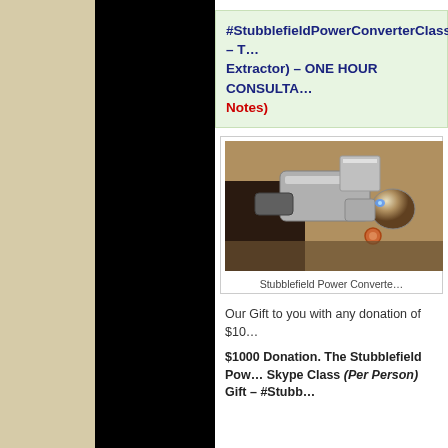#StubblefieldPowerConverterClass – T... Extractor) – ONE HOUR CONSULTA... Notes)
[Figure (photo): Close-up photo of the Stubblefield Power Converter device showing metallic components including tubes and a spherical connector with a faint blue light]
Stubblefield Power Converte...
Our Gift to you with any donation of $10...
$1000 Donation. The Stubblefield Pow... Skype Class (Per Person) Gift – #Stubb...